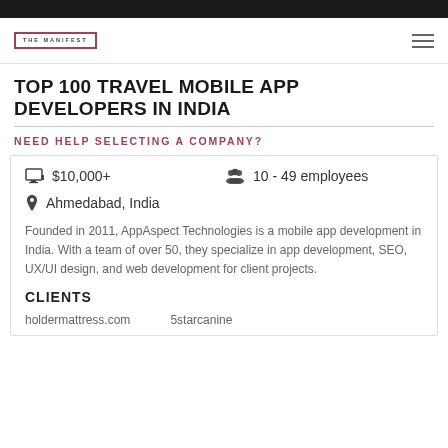THE MANIFEST
TOP 100 TRAVEL MOBILE APP DEVELOPERS IN INDIA
NEED HELP SELECTING A COMPANY?
$10,000+   10 - 49 employees
Ahmedabad, India
Founded in 2011, AppAspect Technologies is a mobile app development in India. With a team of over 50, they specialize in app development, SEO, UX/UI design, and web development for client projects.
CLIENTS
holdermattress.com
5starcanine